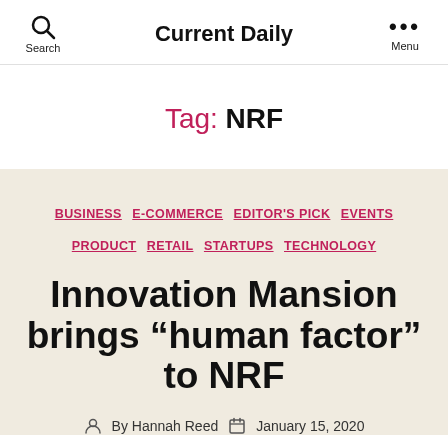Current Daily
Tag: NRF
BUSINESS  E-COMMERCE  EDITOR'S PICK  EVENTS  PRODUCT  RETAIL  STARTUPS  TECHNOLOGY
Innovation Mansion brings “human factor” to NRF
By Hannah Reed  January 15, 2020